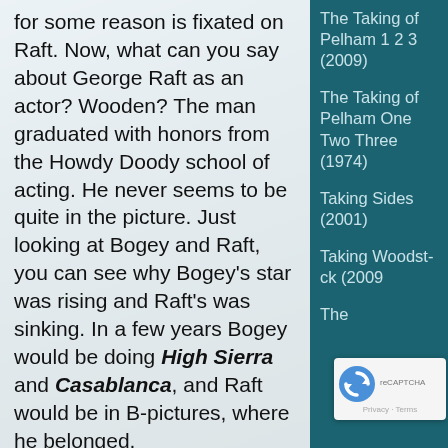for some reason is fixated on Raft. Now, what can you say about George Raft as an actor? Wooden? The man graduated with honors from the Howdy Doody school of acting. He never seems to be quite in the picture. Just looking at Bogey and Raft, you can see why Bogey's star was rising and Raft's was sinking. In a few years Bogey would be doing High Sierra and Casablanca, and Raft would be in B-pictures, where he belonged.
So instead of being a movie about two brothers trying to get ahead in a hard line of
The Taking of Pelham 1 2 3 (2009)
The Taking of Pelham One Two Three (1974)
Taking Sides (2001)
Taking Woodstock (2009)
The
[Figure (other): reCAPTCHA badge with rotating arrow logo, Privacy and Terms links]